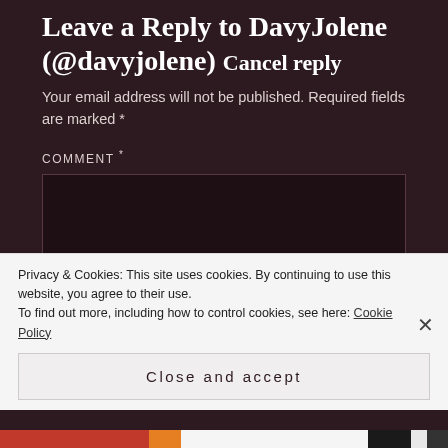Leave a Reply to DavyJolene (@davyjolene) Cancel reply
Your email address will not be published. Required fields are marked *
COMMENT *
Privacy & Cookies: This site uses cookies. By continuing to use this website, you agree to their use.
To find out more, including how to control cookies, see here: Cookie Policy
Close and accept